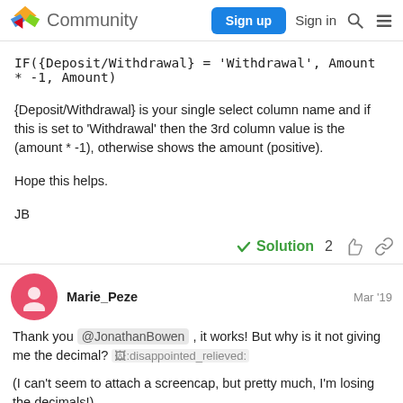Community  Sign up  Sign in
{Deposit/Withdrawal} is your single select column name and if this is set to 'Withdrawal' then the 3rd column value is the (amount * -1), otherwise shows the amount (positive).
Hope this helps.
JB
✓ Solution   2
Marie_Peze  Mar '19
Thank you @JonathanBowen , it works! But why is it not giving me the decimal? :disappointed_relieved:
(I can't seem to attach a screencap, but pretty much, I'm losing the decimals!)